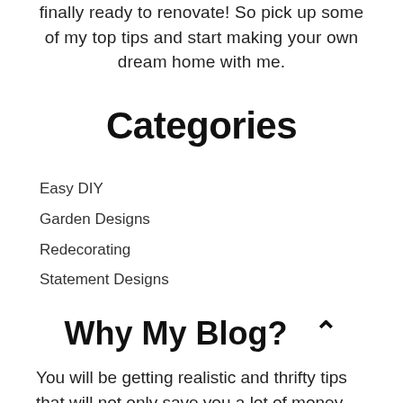finally ready to renovate! So pick up some of my top tips and start making your own dream home with me.
Categories
Easy DIY
Garden Designs
Redecorating
Statement Designs
Why My Blog?
You will be getting realistic and thrifty tips that will not only save you a lot of money but it will make your home